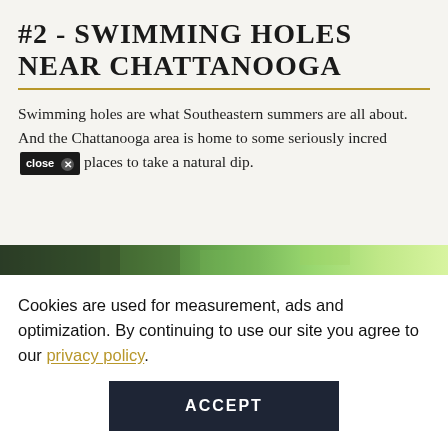#2 - SWIMMING HOLES NEAR CHATTANOOGA
Swimming holes are what Southeastern summers are all about. And the Chattanooga area is home to some seriously incredible places to take a natural dip.
[Figure (photo): Partial view of a lush green forested swimming hole area near Chattanooga]
Cookies are used for measurement, ads and optimization. By continuing to use our site you agree to our privacy policy.
ACCEPT